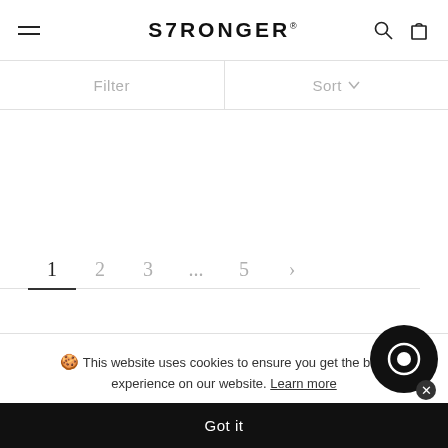S7RONGER
Filter
Sort
1  2  3  ...  5  >
🍪 This website uses cookies to ensure you get the best experience on our website. Learn more
Got it